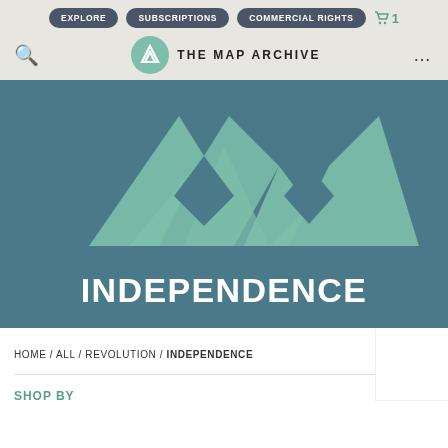EXPLORE | SUBSCRIPTIONS | COMMERCIAL RIGHTS | Cart 1
[Figure (logo): The Map Archive logo with circular mountain icon and text THE MAP ARCHIVE]
[Figure (logo): Large Map Archive MMM mountain logo in teal/green on dark teal background with INDEPENDENCE text below]
HOME / ALL / REVOLUTION / INDEPENDENCE
SHOP BY